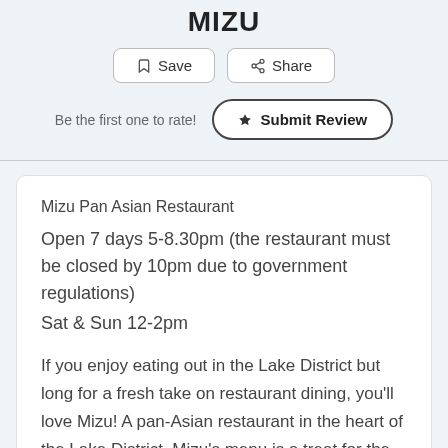MIZU
Save   Share
Be the first one to rate!   ★ Submit Review
Mizu Pan Asian Restaurant
Open 7 days 5-8.30pm (the restaurant must be closed by 10pm due to government regulations)
Sat & Sun 12-2pm

If you enjoy eating out in the Lake District but long for a fresh take on restaurant dining, you'll love Mizu! A pan-Asian restaurant in the heart of the Lake District. Mizu's menu is a treat for the senses: a selection of tempting Japanese, Korean, Chinese, Vietnamese and Thai specialities, expertly prepared by our highly skilled team